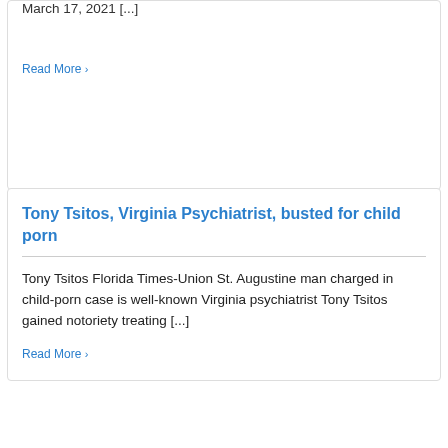March 17, 2021 [...]
Read More
Tony Tsitos, Virginia Psychiatrist, busted for child porn
Tony Tsitos Florida Times-Union St. Augustine man charged in child-porn case is well-known Virginia psychiatrist Tony Tsitos gained notoriety treating [...]
Read More